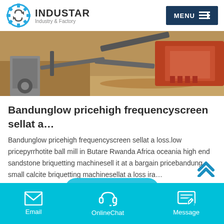INDUSTAR Industry & Factory
[Figure (photo): Industrial machinery / mining equipment scene with orange earth-moving equipment in a dusty outdoor setting]
Bandunglow pricehigh frequencyscreen sellat a…
Bandunglow pricehigh frequencyscreen sellat a loss.low pricepyrrhotite ball mill in Butare Rwanda Africa oceania high end sandstone briquetting machinesell it at a bargain pricebandung small calcite briquetting machinesellat a loss ira…
Online Chat
Email  OnlineChat  Message